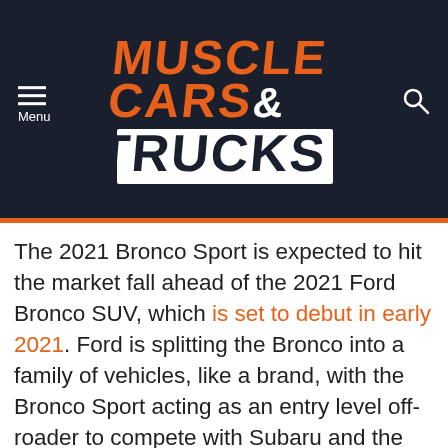Muscle Cars & Trucks
The 2021 Bronco Sport is expected to hit the market fall ahead of the 2021 Ford Bronco SUV, which is set to debut in early 2021. Ford is splitting the Bronco into a family of vehicles, like a brand, with the Bronco Sport acting as an entry level off-roader to compete with Subaru and the Jeep Cherokee. The 2021 Ford Bronco itself is affixed to a body on frame platform it will share with the Ford Ranger midsize pickup truck, and will go toe-toe with the likes of the JL Jeep Wrangler, Toyota 4Runner, and Land Rover...